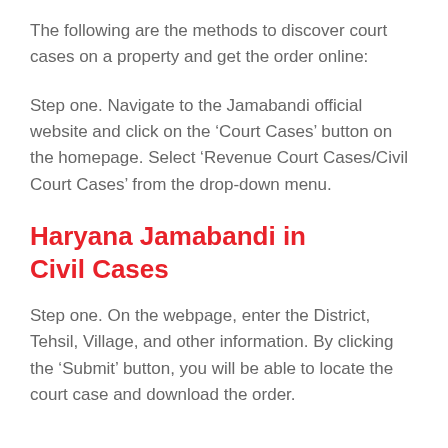The following are the methods to discover court cases on a property and get the order online:
Step one. Navigate to the Jamabandi official website and click on the ‘Court Cases’ button on the homepage. Select ‘Revenue Court Cases/Civil Court Cases’ from the drop-down menu.
Haryana Jamabandi in Civil Cases
Step one. On the webpage, enter the District, Tehsil, Village, and other information. By clicking the ‘Submit’ button, you will be able to locate the court case and download the order.